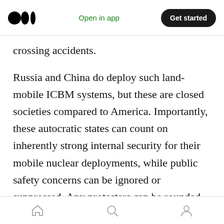Open in app | Get started
crossing accidents.
Russia and China do deploy such land-mobile ICBM systems, but these are closed societies compared to America. Importantly, these autocratic states can count on inherently strong internal security for their mobile nuclear deployments, while public safety concerns can be ignored or suppressed. Any protesters can be rounded up and silenced. Perhaps Russia and China have resorted to land-mobile ICBMs because, despite some recent advances, they
Home | Search | Profile